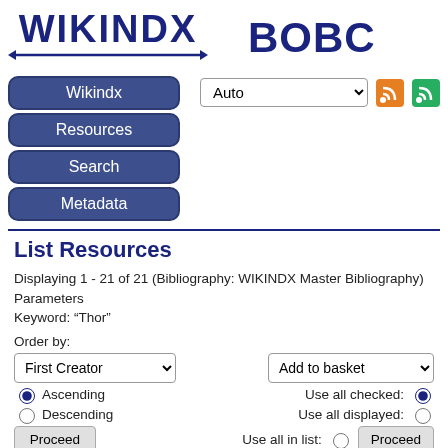[Figure (logo): WIKINDX logo with left and right arrows, and BOBC text partially visible]
Wikindx
Resources
Search
Metadata
List Resources
Displaying 1 - 21 of 21 (Bibliography: WIKINDX Master Bibliography)
Parameters
Keyword: "Thor"
Order by:
Ascending
Descending
Use all checked:
Use all displayed:
Use all in list: